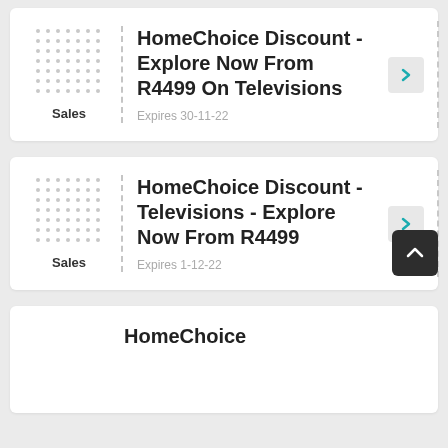Sales — HomeChoice Discount - Explore Now From R4499 On Televisions — Expires 30-11-22
Sales — HomeChoice Discount - Televisions - Explore Now From R4499 — Expires 1-12-22
HomeChoice